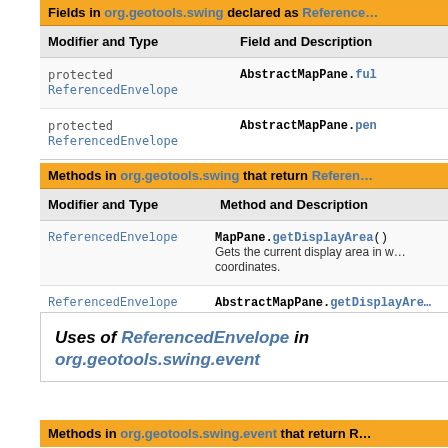| Modifier and Type | Field and Description |
| --- | --- |
| protected ReferencedEnvelope | AbstractMapPane.ful… |
| protected ReferencedEnvelope | AbstractMapPane.pen… |
Methods in org.geotools.swing that return Referenced…
| Modifier and Type | Method and Description |
| --- | --- |
| ReferencedEnvelope | MapPane.getDisplayArea()
Gets the current display area in w… coordinates. |
| ReferencedEnvelope | AbstractMapPane.getDisplayAre…
Gets the current display area in w… coordinates. |
Uses of ReferencedEnvelope in org.geotools.swing.event
Methods in org.geotools.swing.event that return R…